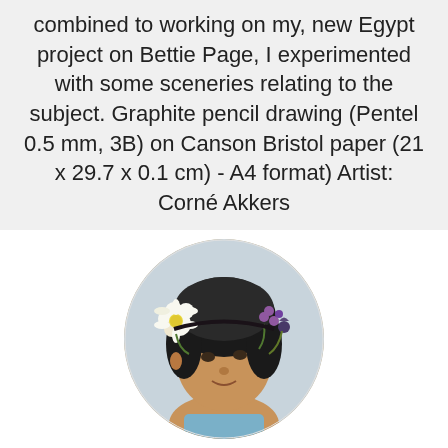combined to working on my new Egypt project on Bettie Page, I experimented with some sceneries relating to the subject. Graphite pencil drawing (Pentel 0.5 mm, 3B) on Canson Bristol paper (21 x 29.7 x 0.1 cm) - A4 format) Artist: Corné Akkers
[Figure (photo): Circular profile photo of a man with dark hair wearing a flower crown with daisies and other flowers, facing slightly to the right, light background.]